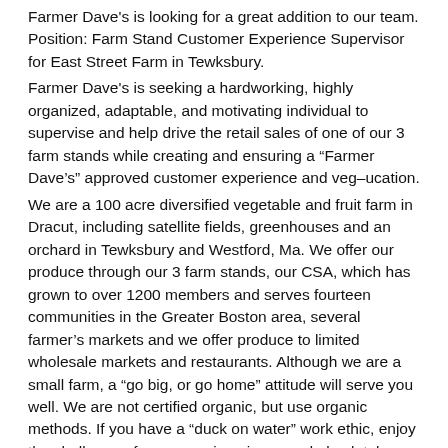Farmer Dave's is looking for a great addition to our team. Position: Farm Stand Customer Experience Supervisor for East Street Farm in Tewksbury.
Farmer Dave's is seeking a hardworking, highly organized, adaptable, and motivating individual to supervise and help drive the retail sales of one of our 3 farm stands while creating and ensuring a “Farmer Dave’s” approved customer experience and veg–ucation.
We are a 100 acre diversified vegetable and fruit farm in Dracut, including satellite fields, greenhouses and an orchard in Tewksbury and Westford, Ma. We offer our produce through our 3 farm stands, our CSA, which has grown to over 1200 members and serves fourteen communities in the Greater Boston area, several farmer’s markets and we offer produce to limited wholesale markets and restaurants. Although we are a small farm, a “go big, or go home” attitude will serve you well. We are not certified organic, but use organic methods. If you have a “duck on water” work ethic, enjoy the challenge of many moving pieces and absolutely thrive in a fast-paced environment, then